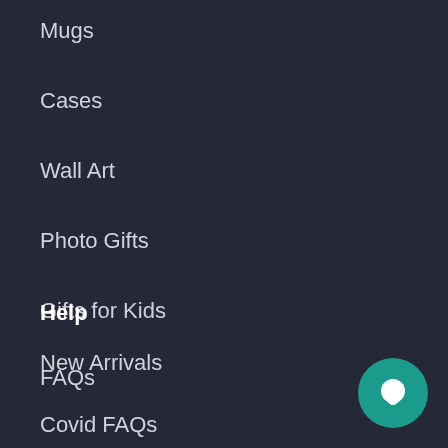Mugs
Cases
Wall Art
Photo Gifts
Gifts for Kids
Gift Cards
New Arrivals
Help
FAQs
Covid FAQs
[Figure (illustration): Teal circular chat bubble button in bottom right corner]